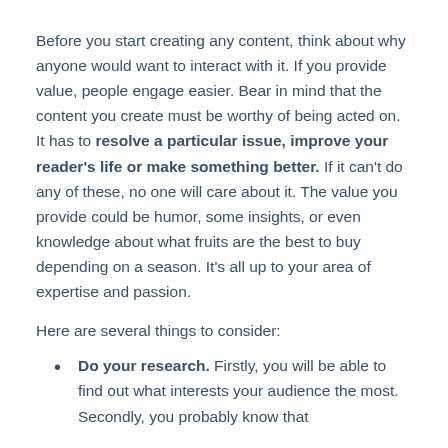Before you start creating any content, think about why anyone would want to interact with it. If you provide value, people engage easier. Bear in mind that the content you create must be worthy of being acted on. It has to resolve a particular issue, improve your reader's life or make something better. If it can't do any of these, no one will care about it. The value you provide could be humor, some insights, or even knowledge about what fruits are the best to buy depending on a season. It's all up to your area of expertise and passion.
Here are several things to consider:
Do your research. Firstly, you will be able to find out what interests your audience the most. Secondly, you probably know that